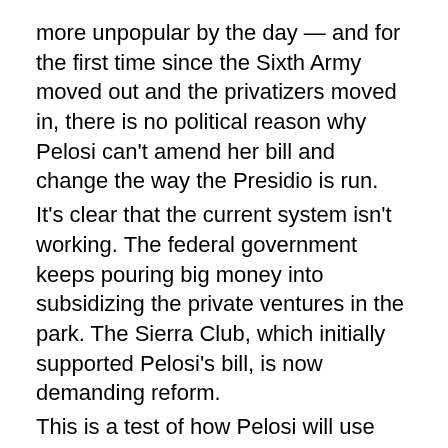more unpopular by the day — and for the first time since the Sixth Army moved out and the privatizers moved in, there is no political reason why Pelosi can't amend her bill and change the way the Presidio is run.
It's clear that the current system isn't working. The federal government keeps pouring big money into subsidizing the private ventures in the park. The Sierra Club, which initially supported Pelosi's bill, is now demanding reform.
This is a test of how Pelosi will use her new power — and whether she was telling the truth when she blamed the privatization of the park on Republicans. She needs to introduce and push a bill to eliminate the Presidio Trust, turn the land over to the National Park Service, and manage it